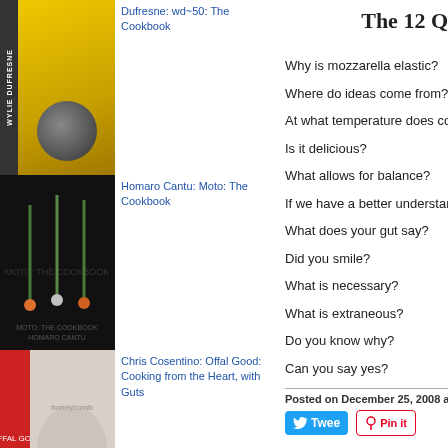[Figure (photo): Book cover: Wylie Dufresne wd~50: The Cookbook, yellow/gold]
Wylie Dufresne: wd~50: The Cookbook
[Figure (photo): Book cover: Homaro Cantu: Moto: The Cookbook, black with spoons]
Homaro Cantu: Moto: The Cookbook
[Figure (photo): Book cover: Chris Cosentino: Offal Good: Cooking from the Heart, with Guts]
Chris Cosentino: Offal Good: Cooking from the Heart, with Guts
[Figure (photo): Book cover: Deb Perelman: Smitten Kitchen Every Day]
Deb Perelman: Smitten Kitchen Every Day:
The 12 Q
Why is mozzarella elastic?
Where do ideas come from?
At what temperature does collagen begin
Is it delicious?
What allows for balance?
If we have a better understanding of the
What does your gut say?
Did you smile?
What is necessary?
What is extraneous?
Do you know why?
Can you say yes?
Posted on December 25, 2008 at 05:20 P
Tweet   Pin it